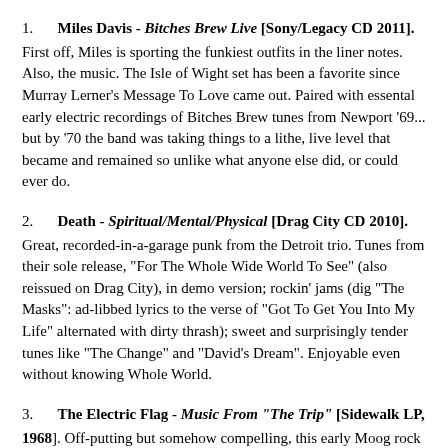1. Miles Davis - Bitches Brew Live [Sony/Legacy CD 2011]. First off, Miles is sporting the funkiest outfits in the liner notes. Also, the music. The Isle of Wight set has been a favorite since Murray Lerner's Message To Love came out. Paired with essental early electric recordings of Bitches Brew tunes from Newport '69... but by '70 the band was taking things to a lithe, live level that became and remained so unlike what anyone else did, or could ever do.
2. Death - Spiritual/Mental/Physical [Drag City CD 2010]. Great, recorded-in-a-garage punk from the Detroit trio. Tunes from their sole release, "For The Whole Wide World To See" (also reissued on Drag City), in demo version; rockin' jams (dig "The Masks": ad-libbed lyrics to the verse of "Got To Get You Into My Life" alternated with dirty thrash); sweet and surprisingly tender tunes like "The Change" and "David's Dream". Enjoyable even without knowing Whole World.
3. The Electric Flag - Music From "The Trip" [Sidewalk LP, 1968]. Off-putting but somehow compelling, this early Moog rock entry and psychsploitation soundtrack pulls of the oddest full band sound from semi-improvisational and by the Bloomfield-led...